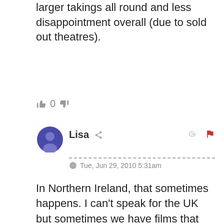larger takings all round and less disappointment overall (due to sold out theatres).
0
Lisa · Tue, Jun 29, 2010 5:31am
In Northern Ireland, that sometimes happens. I can't speak for the UK but sometimes we have films that open here on the Saturday, Sunday or Thursday (rarely on Wednesdays, movies like the Matrix ones, LOTR) before but only for a few shows and only on those days and sometimes not all of those days. I don't